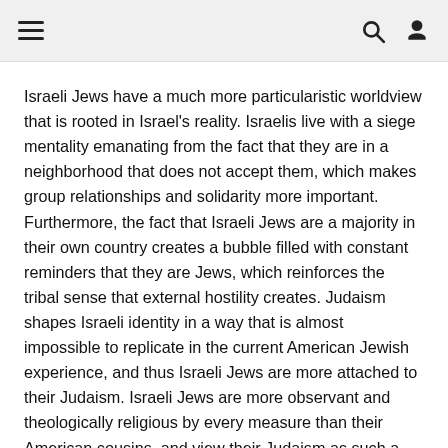[hamburger menu] [search icon] [user icon]
Israeli Jews have a much more particularistic worldview that is rooted in Israel's reality. Israelis live with a siege mentality emanating from the fact that they are in a neighborhood that does not accept them, which makes group relationships and solidarity more important. Furthermore, the fact that Israeli Jews are a majority in their own country creates a bubble filled with constant reminders that they are Jews, which reinforces the tribal sense that external hostility creates. Judaism shapes Israeli identity in a way that is almost impossible to replicate in the current American Jewish experience, and thus Israeli Jews are more attached to their Judaism. Israeli Jews are more observant and theologically religious by every measure than their American cousins, and view their Judaism as such a dominant and influential presence that more Israeli Jews describe themselves as Jewish first than as Israeli first (46% to 35%). Israeli Jews do not see themselves as ensconced in a